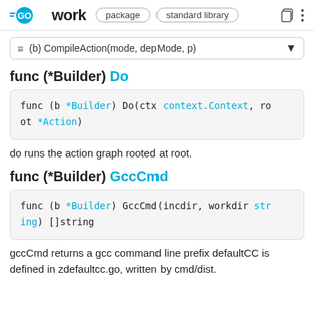GO work  package  standard library
(b) CompileAction(mode, depMode, p)
func (*Builder) Do
[Figure (screenshot): Code block: func (b *Builder) Do(ctx context.Context, root *Action)]
do runs the action graph rooted at root.
func (*Builder) GccCmd
[Figure (screenshot): Code block: func (b *Builder) GccCmd(incdir, workdir string) []string]
gccCmd returns a gcc command line prefix defaultCC is defined in zdefaultcc.go, written by cmd/dist.